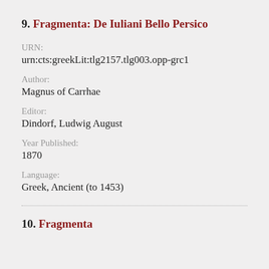9. Fragmenta: De Iuliani Bello Persico
URN:
urn:cts:greekLit:tlg2157.tlg003.opp-grc1
Author:
Magnus of Carrhae
Editor:
Dindorf, Ludwig August
Year Published:
1870
Language:
Greek, Ancient (to 1453)
10. Fragmenta